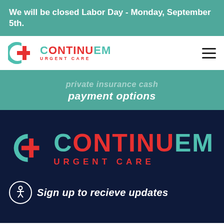We will be closed Labor Day - Monday, September 5th.
[Figure (logo): ContinuEM Urgent Care logo in navigation bar with hamburger menu icon]
private insurance cash payment options
[Figure (logo): ContinuEM Urgent Care logo large on dark navy background]
[Figure (other): Accessibility icon (person in circle)]
Sign up to recieve updates